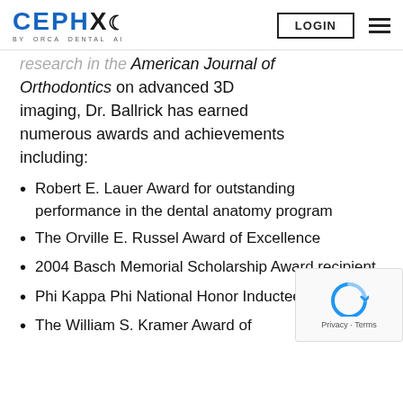CEPHX BY ORCA DENTAL AI | LOGIN
research in the American Journal of Orthodontics on advanced 3D imaging, Dr. Ballrick has earned numerous awards and achievements including:
Robert E. Lauer Award for outstanding performance in the dental anatomy program
The Orville E. Russel Award of Excellence
2004 Basch Memorial Scholarship Award recipient
Phi Kappa Phi National Honor Inductee
The William S. Kramer Award of